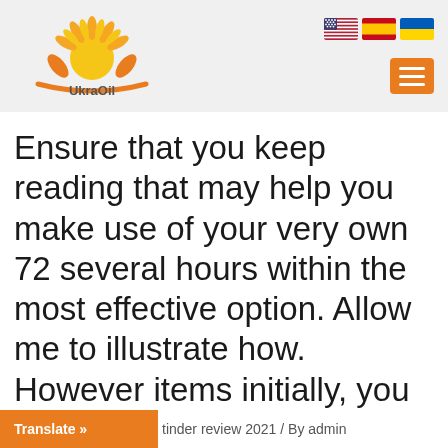[Figure (logo): UkraOil logo: sunflower sun with rays and leaves, orange arc underneath, text 'UkraOil' below]
[Figure (other): Three country flag icons: US flag, Spanish flag, Ukrainian flag]
[Figure (other): Orange hamburger menu button with three white horizontal lines]
Ensure that you keep reading that may help you make use of your very own 72 several hours within the most effective option. Allow me to illustrate how. However items initially, you should join up.
Translate » tinder review 2021 / By admin